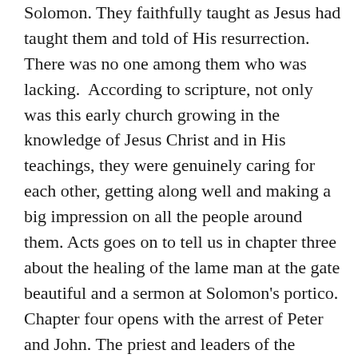Solomon. They faithfully taught as Jesus had taught them and told of His resurrection. There was no one among them who was lacking. According to scripture, not only was this early church growing in the knowledge of Jesus Christ and in His teachings, they were genuinely caring for each other, getting along well and making a big impression on all the people around them. Acts goes on to tell us in chapter three about the healing of the lame man at the gate beautiful and a sermon at Solomon's portico. Chapter four opens with the arrest of Peter and John. The priest and leaders of the temple thought they had solved all their problems by getting Jesus out of the picture. Now not only were his followers the twelve or the one hundred twenty; they had grown to over three thousand and continued to grow. This made the religious leaders very upset and here we find Peter and John in custody.